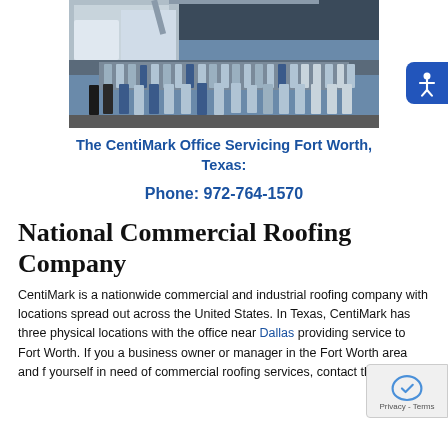[Figure (photo): Group photo of CentiMark roofing team standing in front of a truck and equipment]
The CentiMark Office Servicing Fort Worth, Texas:
Phone: 972-764-1570
National Commercial Roofing Company
CentiMark is a nationwide commercial and industrial roofing company with locations spread out across the United States. In Texas, CentiMark has three physical locations with the office near Dallas providing service to Fort Worth. If you a business owner or manager in the Fort Worth area and f yourself in need of commercial roofing services, contact this